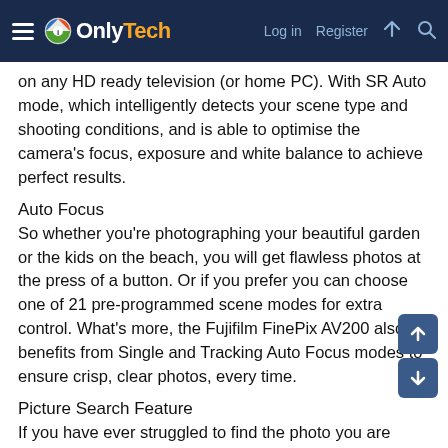OnlyTech — Log in | Register
on any HD ready television (or home PC). With SR Auto mode, which intelligently detects your scene type and shooting conditions, and is able to optimise the camera's focus, exposure and white balance to achieve perfect results.
Auto Focus
So whether you're photographing your beautiful garden or the kids on the beach, you will get flawless photos at the press of a button. Or if you prefer you can choose one of 21 pre-programmed scene modes for extra control. What's more, the Fujifilm FinePix AV200 also benefits from Single and Tracking Auto Focus modes to ensure crisp, clear photos, every time.
Picture Search Feature
If you have ever struggled to find the photo you are looking for on your camera, then this will be your saving grace. The new Fujifilm FinePix AV200 benefits from a Picture Search feature which allows you to find all images taken in a particular scene mode (e.g. Portraits and Landscapes) ensuring it is much faster